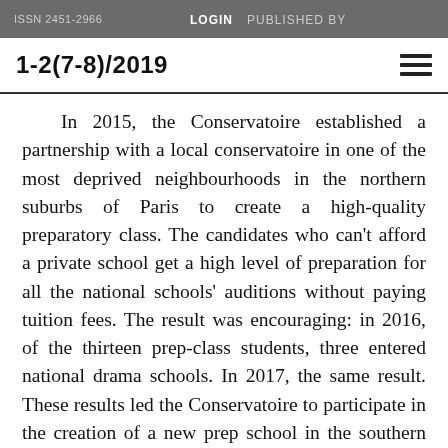ISSN 2451-2966   LOGIN   PUBLISHED BY
1-2(7-8)/2019
In 2015, the Conservatoire established a partnership with a local conservatoire in one of the most deprived neighbourhoods in the northern suburbs of Paris to create a high-quality preparatory class. The candidates who can't afford a private school get a high level of preparation for all the national schools' auditions without paying tuition fees. The result was encouraging: in 2016, of the thirteen prep-class students, three entered national drama schools. In 2017, the same result. These results led the Conservatoire to participate in the creation of a new prep school in the southern suburbs of Paris. It's